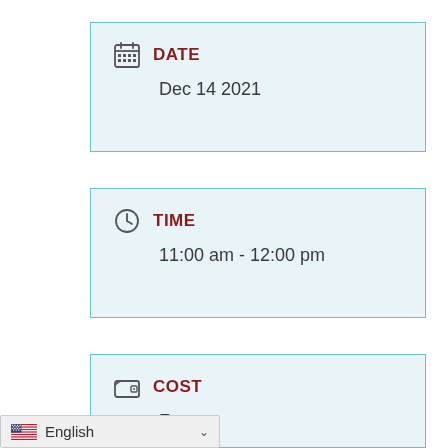DATE
Dec 14 2021
TIME
11:00 am - 12:00 pm
COST
Free
English